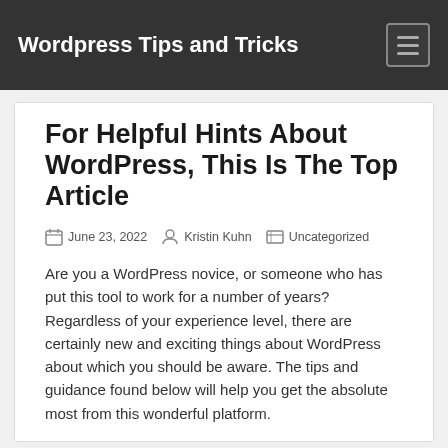Wordpress Tips and Tricks
For Helpful Hints About WordPress, This Is The Top Article
June 23, 2022   Kristin Kuhn   Uncategorized
Are you a WordPress novice, or someone who has put this tool to work for a number of years? Regardless of your experience level, there are certainly new and exciting things about WordPress about which you should be aware. The tips and guidance found below will help you get the absolute most from this wonderful platform.